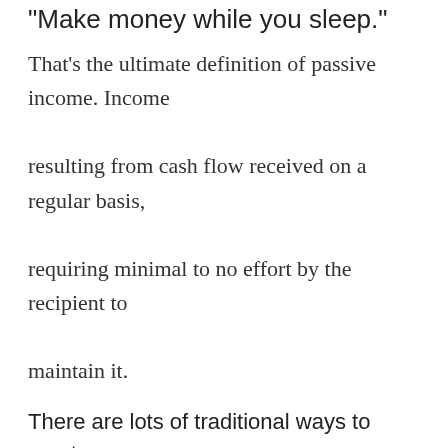"Make money while you sleep."
That's the ultimate definition of passive income. Income resulting from cash flow received on a regular basis, requiring minimal to no effort by the recipient to maintain it.
There are lots of traditional ways to create passive income. The best example most people are aware of is owning rental properties.
But I'm focusing on: